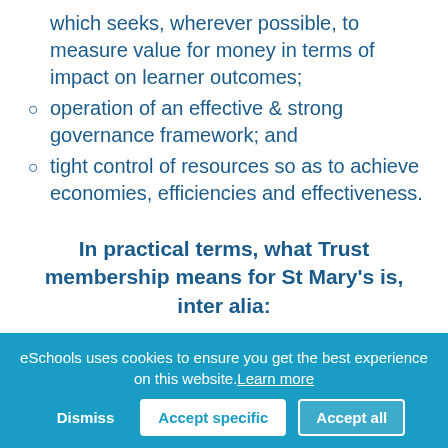which seeks, wherever possible, to measure value for money in terms of impact on learner outcomes;
operation of an effective & strong governance framework; and
tight control of resources so as to achieve economies, efficiencies and effectiveness.
In practical terms, what Trust membership means for St Mary's is, inter alia:
ready access to advice and professional support;
challenge, and a continuous drive for improvement;
eSchools uses cookies to ensure you get the best experience on this website. Learn more
Dismiss | Accept specific | Accept all